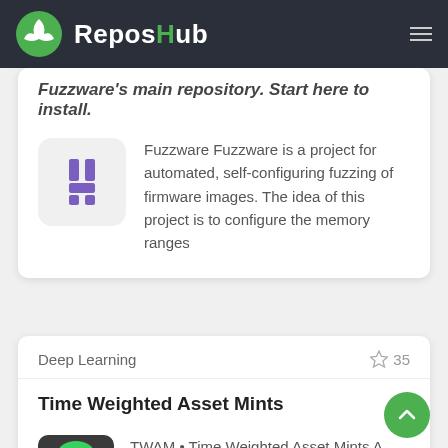ReposHub
Fuzzware's main repository. Start here to install.
[Figure (logo): Fuzzware purple logo icon on light gray background]
Fuzzware Fuzzware is a project for automated, self-configuring fuzzing of firmware images. The idea of this project is to configure the memory ranges
Deep Learning
35
Time Weighted Asset Mints
[Figure (illustration): Colorful anime-style character illustration]
TWAM • Time Weighted Asset Mints A minting harness enabling time-weighted assets to determine minting prices. How it works